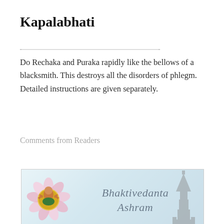Kapalabhati
Do Rechaka and Puraka rapidly like the bellows of a blacksmith. This destroys all the disorders of phlegm. Detailed instructions are given separately.
Comments from Readers
[Figure (illustration): Bhaktivedanta Ashram banner advertisement showing a lotus flower with a deity figure and a temple silhouette on the right, with the text 'Bhaktivedanta Ashram' in italic script.]
Help Support the Bhaktivedanta Ashram